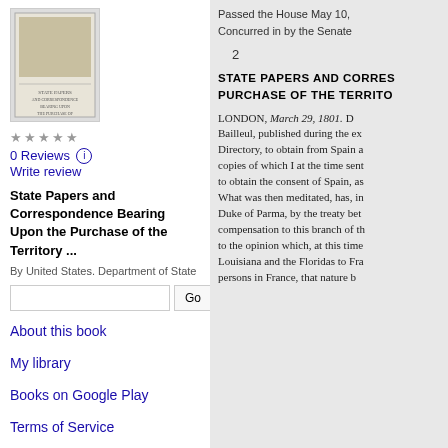[Figure (illustration): Book cover thumbnail for State Papers and Correspondence Bearing Upon the Purchase of the Territory]
0 Reviews
Write review
State Papers and Correspondence Bearing Upon the Purchase of the Territory ...
By United States. Department of State
Go (search button)
About this book
My library
Books on Google Play
Terms of Service
Passed the House May 10,
Concurred in by the Senate
2
STATE PAPERS AND CORRES... PURCHASE OF THE TERRITO...
LONDON, March 29, 1801. D... Bailleul, published during the ex... Directory, to obtain from Spain a... copies of which I at the time sent... to obtain the consent of Spain, as... What was then meditated, has, in... Duke of Parma, by the treaty bet... compensation to this branch of th... to the opinion which, at this time... Louisiana and the Floridas to Fra... persons in France, that nature b...